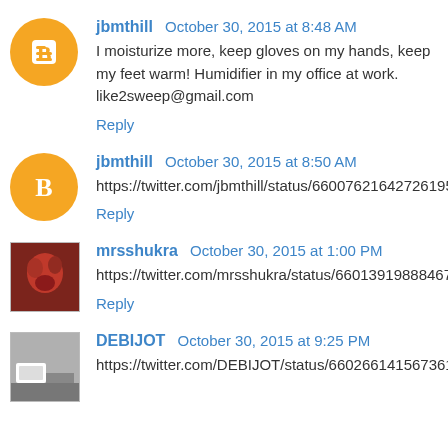jbmthill  October 30, 2015 at 8:48 AM
I moisturize more, keep gloves on my hands, keep my feet warm! Humidifier in my office at work.
like2sweep@gmail.com
Reply
jbmthill  October 30, 2015 at 8:50 AM
https://twitter.com/jbmthill/status/660076216427261952
Reply
mrsshukra  October 30, 2015 at 1:00 PM
https://twitter.com/mrsshukra/status/660139198884679681
Reply
DEBIJOT  October 30, 2015 at 9:25 PM
https://twitter.com/DEBIJOT/status/660266141567361024